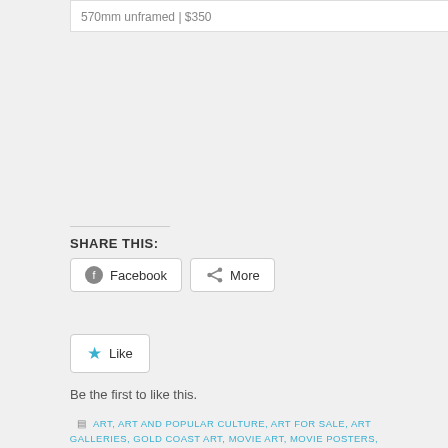570mm unframed | $350
SHARE THIS:
Facebook
More
Like
Be the first to like this.
ART, ART AND POPULAR CULTURE, ART FOR SALE, ART GALLERIES, GOLD COAST ART, MOVIE ART, MOVIE POSTERS, PAINTINGS • ACRYLIC PAINTING, AFFORDABLE ART, ART EXHIBITIONS, ART GALLERIES, ART NEWS, B-GRADE MOVIES, CINEMA, CLASSIC CINEMA, COLLECTABLE ART, CONTEMPORARY AUSTRALIAN ART, CULT MOVIES, FILM FESTIVALS, GOLD COAST ART GALLERY, GOLD COAST FILM FESTIVAL, HILLIER AND SKUSE